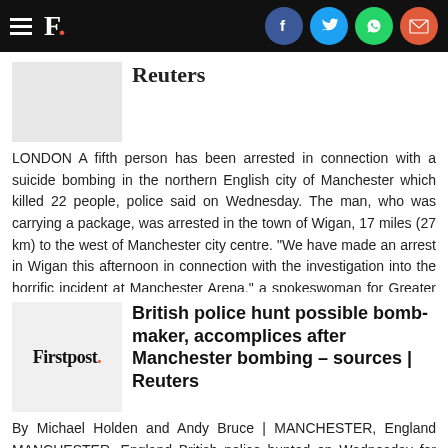F. [Firstpost logo] | Facebook, Twitter, WhatsApp, Email share icons
Reuters
LONDON A fifth person has been arrested in connection with a suicide bombing in the northern English city of Manchester which killed 22 people, police said on Wednesday. The man, who was carrying a package, was arrested in the town of Wigan, 17 miles (27 km) to the west of Manchester city centre. "We have made an arrest in Wigan this afternoon in connection with the investigation into the horrific incident at Manchester Arena," a spokeswoman for Greater Manchester Police said
British police hunt possible bomb-maker, accomplices after Manchester bombing – sources | Reuters
By Michael Holden and Andy Bruce | MANCHESTER, England MANCHESTER, England British police hunted on Wednesday for potential accomplices who may have helped Salman Abedi build the bomb that killed 22 people at a concert in Manchester and who could be ready to kill again. A media right is a text that the British